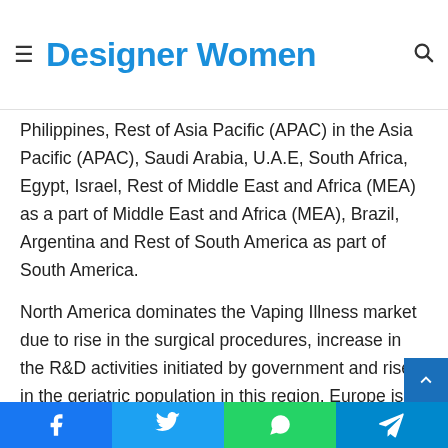Designer Women
Philippines, Rest of Asia Pacific (APAC) in the Asia Pacific (APAC), Saudi Arabia, U.A.E, South Africa, Egypt, Israel, Rest of Middle East and Africa (MEA) as a part of Middle East and Africa (MEA), Brazil, Argentina and Rest of South America as part of South America.
North America dominates the Vaping Illness market due to rise in the surgical procedures, increase in the R&D activities initiated by government and rise in the geriatric population in this region. Europe is the expected region in terms of growth in Vaping Illness market due to also rise in the surgical procedures, increase in the R&D activities initiated by government and rise in the geriatric population in this region.
Facebook | Twitter | WhatsApp | Telegram